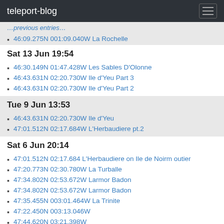teleport-blog
46:09.275N 001:09.040W La Rochelle
Sat 13 Jun 19:54
46:30.149N 01:47.428W Les Sables D'Olonne
46:43.631N 02:20.730W Ile d'Yeu Part 3
46:43.631N 02:20.730W Ile d'Yeu Part 2
Tue 9 Jun 13:53
46:43.631N 02:20.730W Ile d'Yeu
47:01.512N 02:17.684W L'Herbaudiere pt.2
Sat 6 Jun 20:14
47:01.512N 02:17.684 L'Herbaudiere on Ile de Noirm outier
47:20.773N 02:30.780W La Turballe
47:34.802N 02:53.672W Larmor Badon
47:34.802N 02:53.672W Larmor Badon
47:35.455N 003:01.464W La Trinite
47:22.450N 003:13.046W
47:44.620N 03:21.398W
May 2009